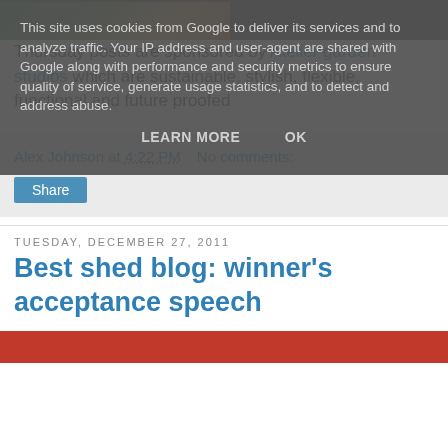This site uses cookies from Google to deliver its services and to analyze traffic. Your IP address and user-agent are shared with Google along with performance and security metrics to ensure quality of service, generate usage statistics, and to detect and address abuse.
LEARN MORE    OK
[Figure (photo): Partially visible image strip at top of page, showing a scene with green and brown tones]
Thursday posts are sponsored by Atelier garden studios which are sustainable, stylish, flexible, functional and future proofed
Alex Johnson at 4:22 PM    No comments:
Share
Tuesday, December 27, 2011
Best shed blog: winner's acceptance speech
[Figure (photo): Partially visible image strip at bottom, dark with red tones]